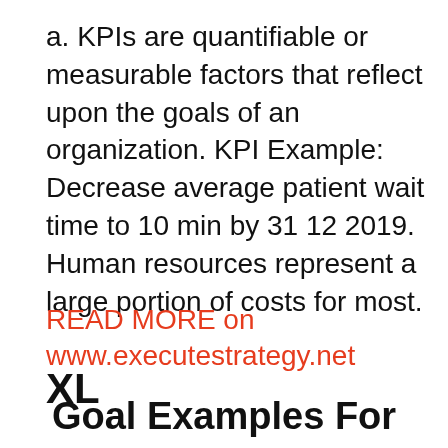a. KPIs are quantifiable or measurable factors that reflect upon the goals of an organization. KPI Example: Decrease average patient wait time to 10 min by 31 12 2019. Human resources represent a large portion of costs for most.
READ MORE on www.executestrategy.net
XL
Goal Examples For